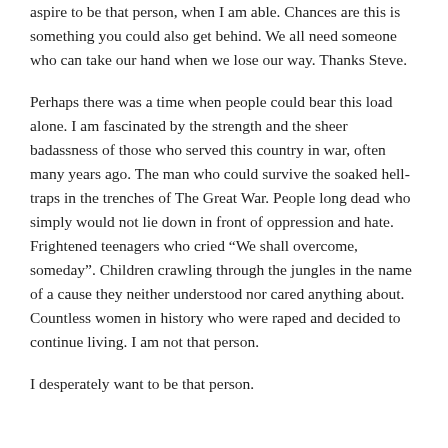aspire to be that person, when I am able. Chances are this is something you could also get behind. We all need someone who can take our hand when we lose our way. Thanks Steve.
Perhaps there was a time when people could bear this load alone. I am fascinated by the strength and the sheer badassness of those who served this country in war, often many years ago. The man who could survive the soaked hell-traps in the trenches of The Great War. People long dead who simply would not lie down in front of oppression and hate. Frightened teenagers who cried “We shall overcome, someday”. Children crawling through the jungles in the name of a cause they neither understood nor cared anything about. Countless women in history who were raped and decided to continue living. I am not that person.
I desperately want to be that person.